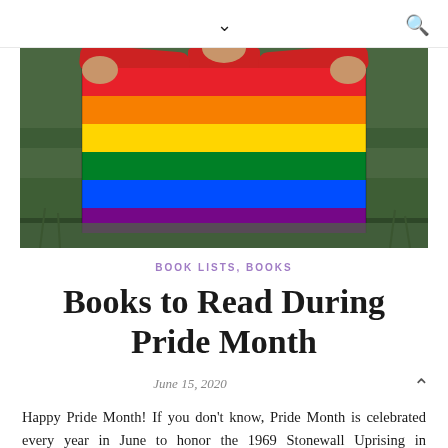▾  🔍
[Figure (photo): Person holding a rainbow Pride flag spread wide open, standing in a grassy field. Person wears a red top. The flag shows the classic six-stripe rainbow pattern (red, orange, yellow, green, blue, purple).]
BOOK LISTS, BOOKS
Books to Read During Pride Month
June 15, 2020
Happy Pride Month! If you don't know, Pride Month is celebrated every year in June to honor the 1969 Stonewall Uprising in Manhattan, which served as the tipping point for